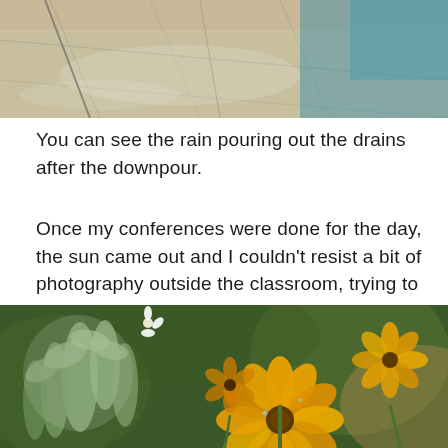[Figure (photo): Close-up photo of wet floor tiles or pavement showing rainwater pouring out of drains after a downpour, with teal/blue color visible in upper right]
You can see the rain pouring out the drains after the downpour.
Once my conferences were done for the day, the sun came out and I couldn't resist a bit of photography outside the classroom, trying to catch the sunlight on the damp flowers that were clearly enjoying some rainfall in this usually dry climate.
[Figure (photo): Macro photo of bright yellow/orange flowers with silvery-green succulent or dusty miller plant foliage in the foreground, with blurred bokeh background of browns and greens]